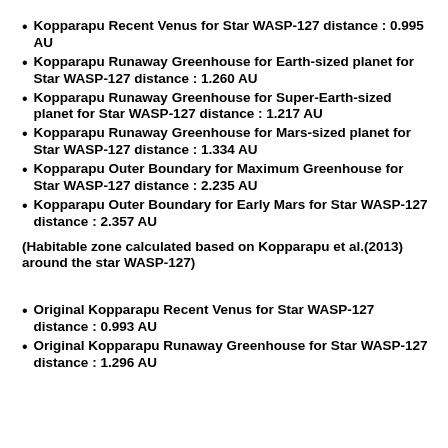Kopparapu Recent Venus for Star WASP-127 distance : 0.995 AU
Kopparapu Runaway Greenhouse for Earth-sized planet for Star WASP-127 distance : 1.260 AU
Kopparapu Runaway Greenhouse for Super-Earth-sized planet for Star WASP-127 distance : 1.217 AU
Kopparapu Runaway Greenhouse for Mars-sized planet for Star WASP-127 distance : 1.334 AU
Kopparapu Outer Boundary for Maximum Greenhouse for Star WASP-127 distance : 2.235 AU
Kopparapu Outer Boundary for Early Mars for Star WASP-127 distance : 2.357 AU
(Habitable zone calculated based on Kopparapu et al.(2013) around the star WASP-127)
Original Kopparapu Recent Venus for Star WASP-127 distance : 0.993 AU
Original Kopparapu Runaway Greenhouse for Star WASP-127 distance : 1.296 AU